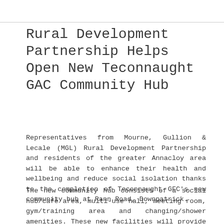Rural Development Partnership Helps Open New Teconnaught GAC Community Hub
Representatives from Mourne, Gullion & Lecale (MGL) Rural Development Partnership and residents of the greater Annacloy area will be able to enhance their health and wellbeing and reduce social isolation thanks to the completion of Teconnaught GFC's new community hub at Rann Road, Downpatrick.
The new community hub consists of a social hub/café area, multi-use hall, meeting room, gym/training area and changing/shower amenities. These new facilities will provide access to a range of services previously unavailable and will enable the local community to deliver and facilitate innovative cross community